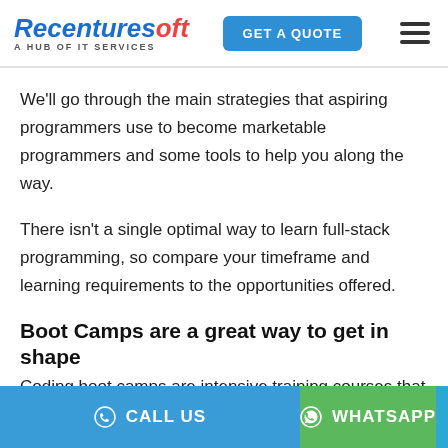Recenturesoft A HUB OF IT SERVICES | GET A QUOTE
We'll go through the main strategies that aspiring programmers use to become marketable programmers and some tools to help you along the way.
There isn't a single optimal way to learn full-stack programming, so compare your timeframe and learning requirements to the opportunities offered.
Boot Camps are a great way to get in shape
Coding boot camps are intensive training courses that provide you with all of the industry-ready skills you need to become a full-fledged developer quickly. You'll have
CALL US | WHATSAPP